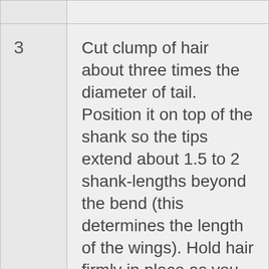|  |  |
| --- | --- |
|  |  |
| 3 | Cut clump of hair about three times the diameter of tail. Position it on top of the shank so the tips extend about 1.5 to 2 shank-lengths beyond the bend (this determines the length of the wings). Hold hair firmly in place as you make two loose wraps around the butts and shank, then pull down slowly to tighten. The butts should spiral down around the shank... |